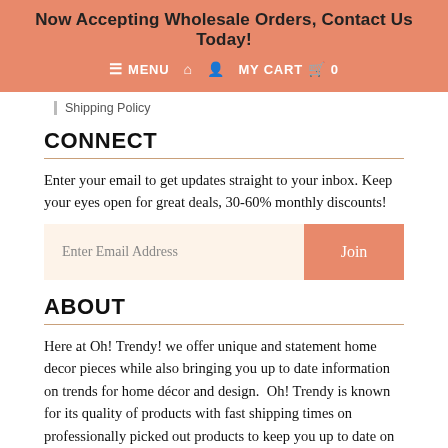Now Accepting Wholesale Orders, Contact Us Today!
≡ MENU  🏠  👤  MY CART  🛒  0
Shipping Policy
CONNECT
Enter your email to get updates straight to your inbox. Keep your eyes open for great deals, 30-60% monthly discounts!
Enter Email Address  Join
ABOUT
Here at Oh! Trendy! we offer unique and statement home decor pieces while also bringing you up to date information on trends for home décor and design.  Oh! Trendy is known for its quality of products with fast shipping times on professionally picked out products to keep you up to date on the latest in the world of